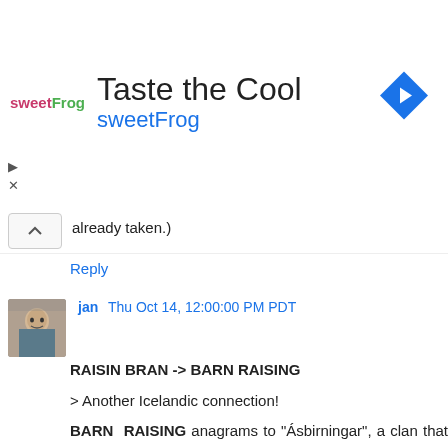[Figure (other): sweetFrog advertisement banner with logo, 'Taste the Cool' headline, 'sweetFrog' brand name in blue, and a blue navigation/directions diamond icon]
already taken.)
Reply
jan  Thu Oct 14, 12:00:00 PM PDT
RAISIN BRAN -> BARN RAISING

> Another Icelandic connection!

BARN RAISING anagrams to "Ásbirningar", a clan that was apparently a big deal in Iceland in the 12th and 13th centuries.

>> Do you think before his murder, Abel asked his parents why they were bringing up his brother?
> You mean, instead of growing sugar?